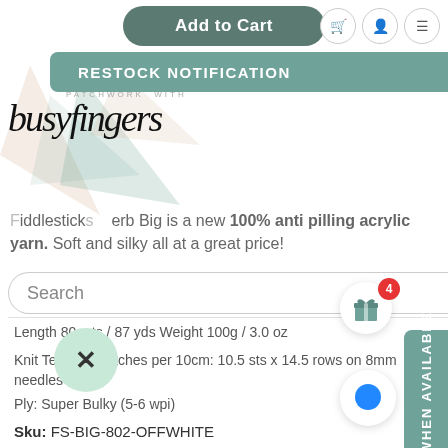[Figure (screenshot): E-commerce product page screenshot for Busy Fingers Patchwork yarn shop showing product details for Fiddlesticks Superb Big anti-pilling acrylic yarn]
Add to Cart
RESTOCK NOTIFICATION
[Figure (logo): busyfingers patchwork with yarn logo text in cursive style with geometric triangle background decoration]
Fiddlesticks Superb Big is a new 100% anti pilling acrylic yarn. Soft and silky all at a great price!
Length 80 mts / 87 yds Weight 100g / 3.0 oz
Knit Tension: Stitches per 10cm: 10.5 sts x 14.5 rows on 8mm needles
Ply: Super Bulky (5-6 wpi)
Hook size: 8mm needle / oUK
Care instructions Warm machine wash / Do not bleach / Do not tumble dry / Dry flat / Do not iron / May be dry cleaned
Sku: FS-BIG-802-OFFWHITE